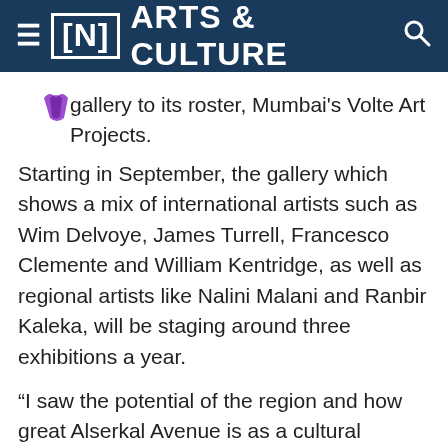[N] ARTS & CULTURE
gallery to its roster, Mumbai's Volte Art Projects.
Starting in September, the gallery which shows a mix of international artists such as Wim Delvoye, James Turrell, Francesco Clemente and William Kentridge, as well as regional artists like Nalini Malani and Ranbir Kaleka, will be staging around three exhibitions a year.
“I saw the potential of the region and how great Alserkal Avenue is as a cultural district,” Tushar Jiwarajka, who founded the gallery in 2009, tells The National. “You can’t find spaces like what Alserkal offers you in India – 8,000-square-foot, high ceilings and open